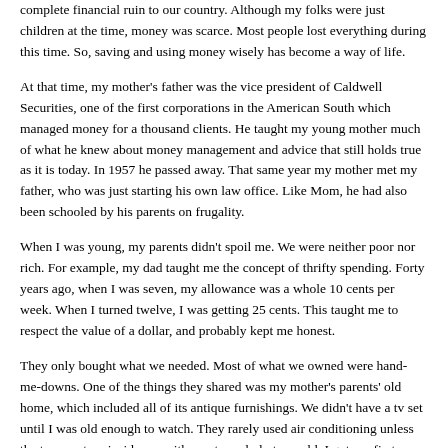complete financial ruin to our country. Although my folks were just children at the time, money was scarce. Most people lost everything during this time. So, saving and using money wisely has become a way of life.
At that time, my mother's father was the vice president of Caldwell Securities, one of the first corporations in the American South which managed money for a thousand clients. He taught my young mother much of what he knew about money management and advice that still holds true today as it is today. In 1957 he passed away. That same year my mother met my father, who was just starting his own law office. Like Mom, he had also been schooled by his parents on frugality.
When I was young, my parents didn't spoil me. We were neither poor nor rich. For example, my dad taught me the concept of thrifty spending. Forty years ago, when I was seven, my allowance was a whole 10 cents per week. When I turned twelve, I was getting 25 cents. This taught me to respect the value of a dollar, and probably kept me honest.
They only bought what we needed. Most of what we owned were hand-me-downs. One of the things they shared was my mother's parents' old home, which included all of its antique furnishings. We didn't have a tv set until I was old enough to watch. They rarely used air conditioning unless the temperature inside was either extremely hot or cold. I got my first car as a hand-me-down too. Of course, it was a used vehicle.
My parents didn't read much for pleasure, nor did they watch much tv. My fa...